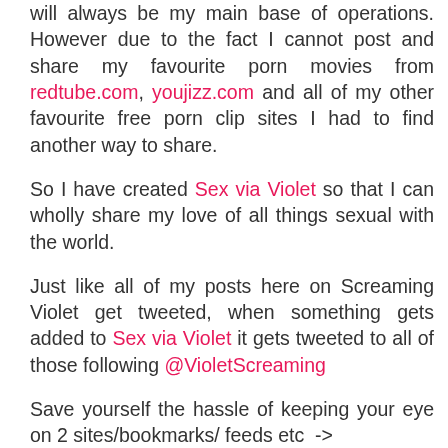will always be my main base of operations. However due to the fact I cannot post and share my favourite porn movies from redtube.com, youjizz.com and all of my other favourite free porn clip sites I had to find another way to share.
So I have created Sex via Violet so that I can wholly share my love of all things sexual with the world.
Just like all of my posts here on Screaming Violet get tweeted, when something gets added to Sex via Violet it gets tweeted to all of those following @VioletScreaming
Save yourself the hassle of keeping your eye on 2 sites/bookmarks/ feeds etc ->